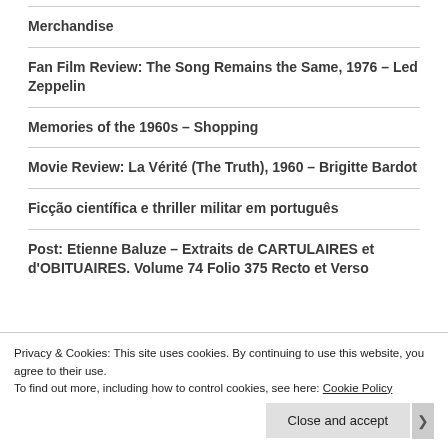Merchandise
Fan Film Review: The Song Remains the Same, 1976 – Led Zeppelin
Memories of the 1960s – Shopping
Movie Review: La Vérité (The Truth), 1960 – Brigitte Bardot
Ficção científica e thriller militar em português
Post: Etienne Baluze – Extraits de CARTULAIRES et d'OBITUAIRES. Volume 74 Folio 375 Recto et Verso
Privacy & Cookies: This site uses cookies. By continuing to use this website, you agree to their use. To find out more, including how to control cookies, see here: Cookie Policy
Close and accept